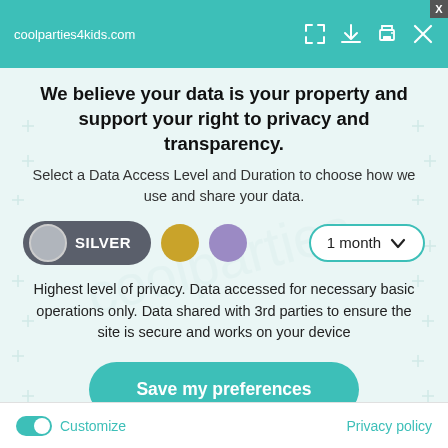coolparties4kids.com
We believe your data is your property and support your right to privacy and transparency.
Select a Data Access Level and Duration to choose how we use and share your data.
[Figure (infographic): Data access level selector showing SILVER button (dark grey pill with grey circle), gold circle, purple circle, and a '1 month' dropdown with teal border and chevron]
Highest level of privacy. Data accessed for necessary basic operations only. Data shared with 3rd parties to ensure the site is secure and works on your device
Save my preferences
Customize
Privacy policy